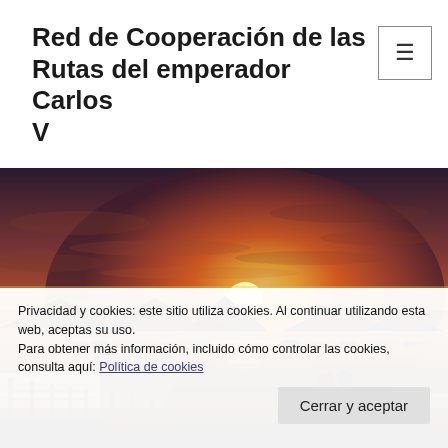Red de Cooperación de las Rutas del emperador Carlos V
[Figure (photo): Sunset panorama over a bay with boats on calm water, mountains in background, couple silhouetted in foreground, dramatic orange and pink sky]
Privacidad y cookies: este sitio utiliza cookies. Al continuar utilizando esta web, aceptas su uso.
Para obtener más información, incluido cómo controlar las cookies, consulta aquí: Política de cookies
Cerrar y aceptar